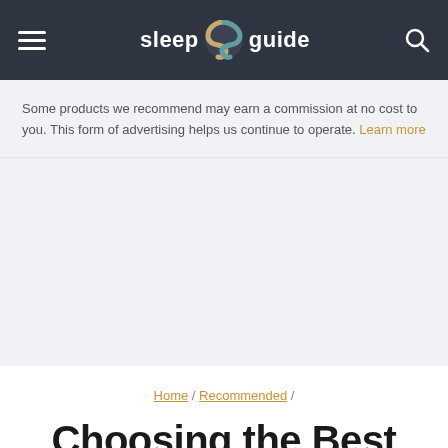sleep S guide
Some products we recommend may earn a commission at no cost to you. This form of advertising helps us continue to operate. Learn more
Home / Recommended /
Choosing the Best